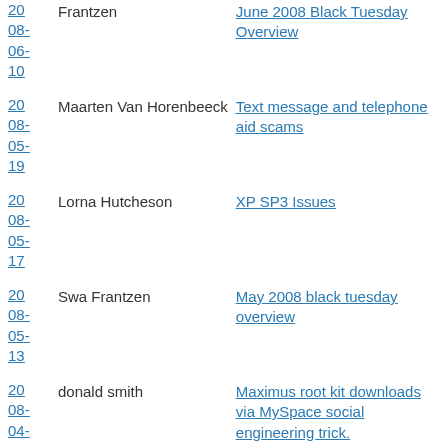20 08-06-10 | Frantzen | June 2008 Black Tuesday Overview
20 08-05-19 | Maarten Van Horenbeeck | Text message and telephone aid scams
20 08-05-17 | Lorna Hutcheson | XP SP3 Issues
20 08-05-13 | Swa Frantzen | May 2008 black tuesday overview
20 08-04- | donald smith | Maximus root kit downloads via MySpace social engineering trick.